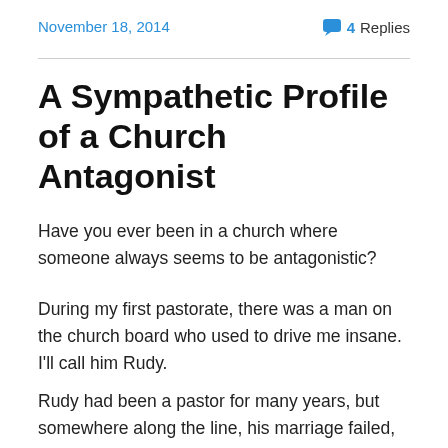November 18, 2014
4 Replies
A Sympathetic Profile of a Church Antagonist
Have you ever been in a church where someone always seems to be antagonistic?
During my first pastorate, there was a man on the church board who used to drive me insane.  I'll call him Rudy.
Rudy had been a pastor for many years, but somewhere along the line, his marriage failed, and his denomination prevented him from pastoring again.
Rudy became a public school teacher and married a